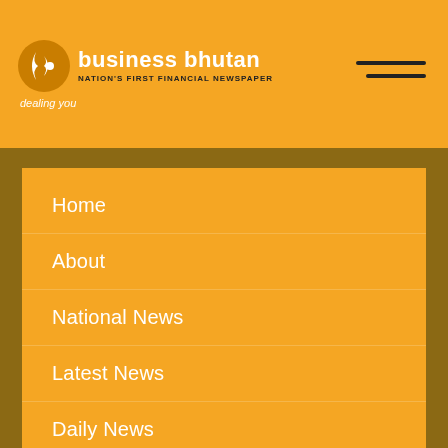[Figure (logo): Business Bhutan logo — circular icon with white shapes on orange background, text 'business bhutan' in white bold, tagline 'NATION'S FIRST FINANCIAL NEWSPAPER' in dark, italic subtitle 'dealing you']
Home
About
National News
Latest News
Daily News
e-Subscribe
Contact